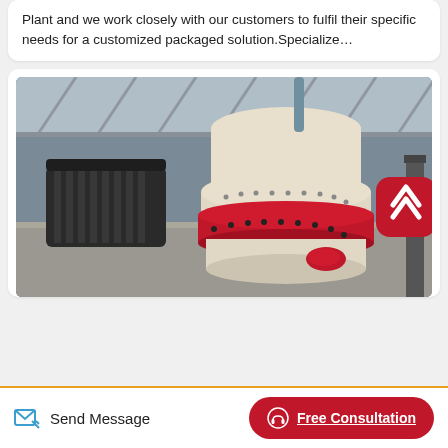Plant and we work closely with our customers to fulfil their specific needs for a customized packaged solution.Specialize…
[Figure (photo): Industrial cone crusher machine with red and cream/white body, electric motor on the left, photographed from below inside a factory with steel truss ceiling. A red rounded-rectangle back-to-top button with a chevron/up-arrow icon is overlaid in the upper-right corner of the image.]
Send Message
Free Consultation